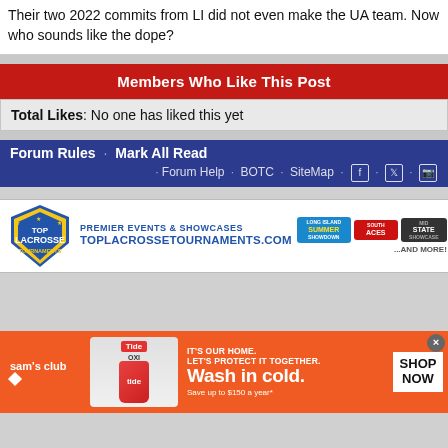Their two 2022 commits from LI did not even make the UA team. Now who sounds like the dope?
Members Who Like This Post
Total Likes: No one has liked this yet
Forum Rules · Mark All Read · Forum Help · BOTC · SiteMap
[Figure (other): Top Lacrosse Tournaments advertisement banner with logo, PREMIER EVENTS & SHOWCASES text, TOPLACROSSETOURNAMENTS.COM, and event logos including Long Island Summer Showdown, Southern Aces, Midstate Showcase, ...AND MORE!]
[Figure (other): Sam's Club advertisement: Tide detergent shown with text IT'S OUR HOME. LET'S PROTECT IT TOGETHER. Wash in cold. Save up to $150 a year* SHOP NOW button]